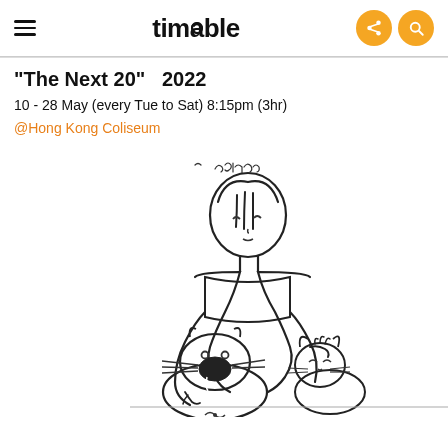timable
"The Next 20"  2022
10 - 28 May (every Tue to Sat) 8:15pm (3hr)
@Hong Kong Coliseum
[Figure (illustration): Line art illustration of a girl sitting and hugging/petting two cats (Moomin-style characters), with a handwritten-style signature at the top]